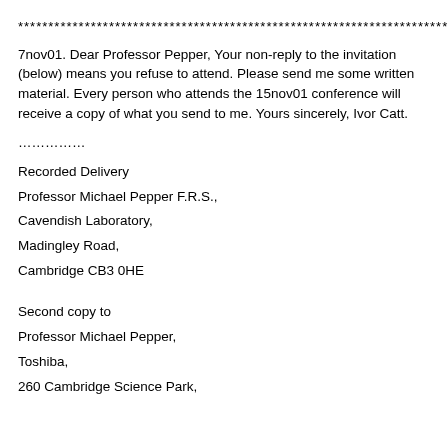******************************************************************************
7nov01. Dear Professor Pepper, Your non-reply to the invitation (below) means you refuse to attend. Please send me some written material. Every person who attends the 15nov01 conference will receive a copy of what you send to me. Yours sincerely, Ivor Catt.
……………
Recorded Delivery
Professor Michael Pepper F.R.S.,
Cavendish Laboratory,
Madingley Road,
Cambridge CB3 0HE
Second copy to
Professor Michael Pepper,
Toshiba,
260 Cambridge Science Park,